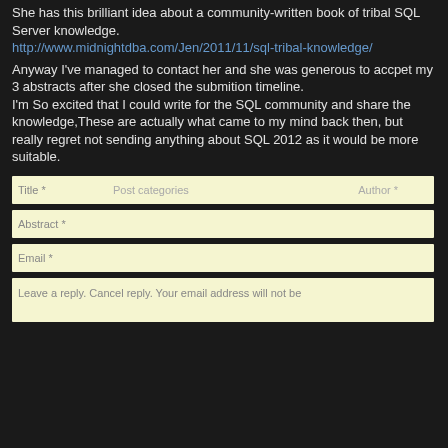She has this brilliant idea about a community-written book of tribal SQL Server knowledge.
http://www.midnightdba.com/Jen/2011/11/sql-tribal-knowledge/
Anyway I've managed to contact her and she was generous to accpet my 3 abstracts after she closed the submition timeline.
I'm So excited that I could write for the SQL community and share the knowledge,These are actually what came to my mind back then, but really regret not sending anything about SQL 2012 as it would be more suitable.
[Figure (screenshot): Blog comment/contact form with four input fields: Title, Category, Author; Abstract (text); Email (text); and a larger text area field]